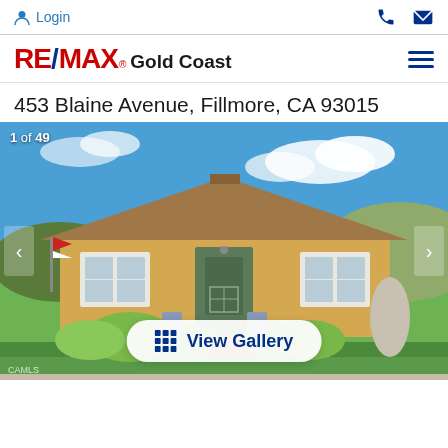Login
[Figure (logo): RE/MAX Gold Coast logo with red and blue text]
453 Blaine Avenue, Fillmore, CA 93015
[Figure (photo): Exterior photo of a single-story yellow ranch house with brown shingle roof, front porch, landscaped yard, lawn, and concrete walkway. Blue sky with clouds in background. Image counter shows 1 of 49. Navigation arrows on left and right. View Gallery button at bottom center. CAMLS watermark at bottom left.]